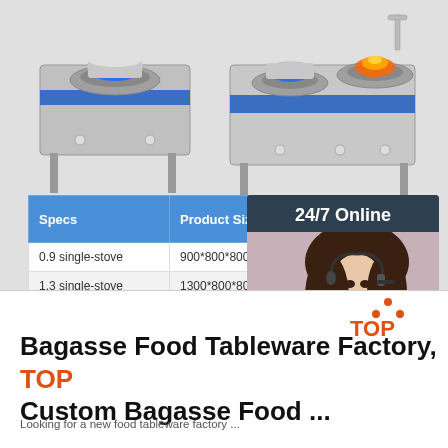[Figure (photo): Two commercial gas stoves (single-burner and double-burner) with blue flames, stainless steel construction]
| Specs | Product Size | Gas Amount |
| --- | --- | --- |
| 0.9 single-stove | 900*800*800mm | 2m³/h/sto... |
| 1.3 single-stove | 1300*800*800mm | 2m³/h/sto... |
| 1.5 double-stove | 1500*800*800mm | 2m³/h/sto... |
| 1.8 double-stove | 1800*800*800mm | 2m³/h/sto... |
[Figure (photo): Customer service representative with headset, 24/7 Online chat box with QUOTATION button]
[Figure (logo): TOP logo in orange/red]
Bagasse Food Tableware Factory, Custom Bagasse Food ...
Looking for a new food tableware factory...